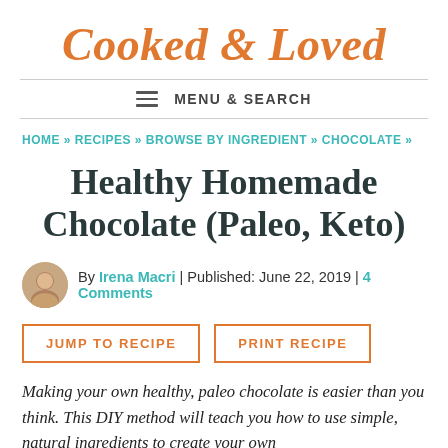Cooked & Loved
MENU & SEARCH
HOME » RECIPES » BROWSE BY INGREDIENT » CHOCOLATE »
Healthy Homemade Chocolate (Paleo, Keto)
By Irena Macri | Published: June 22, 2019 | 4 Comments
JUMP TO RECIPE
PRINT RECIPE
Making your own healthy, paleo chocolate is easier than you think. This DIY method will teach you how to use simple, natural ingredients to create your own